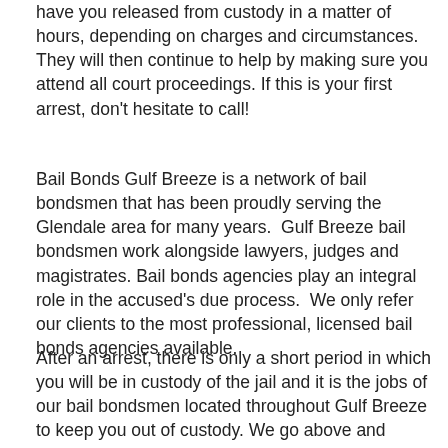have you released from custody in a matter of hours, depending on charges and circumstances. They will then continue to help by making sure you attend all court proceedings. If this is your first arrest, don't hesitate to call!
Bail Bonds Gulf Breeze is a network of bail bondsmen that has been proudly serving the Glendale area for many years. Gulf Breeze bail bondsmen work alongside lawyers, judges and magistrates. Bail bonds agencies play an integral role in the accused's due process. We only refer our clients to the most professional, licensed bail bonds agencies available.
After an arrest, there is only a short period in which you will be in custody of the jail and it is the jobs of our bail bondsmen located throughout Gulf Breeze to keep you out of custody. We go above and beyond our duties to make sure the accused follows the conditions of their bail and